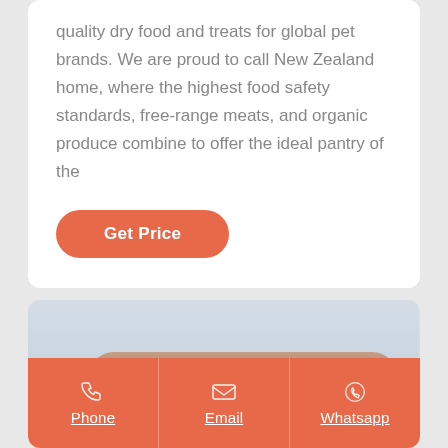quality dry food and treats for global pet brands. We are proud to call New Zealand home, where the highest food safety standards, free-range meats, and organic produce combine to offer the ideal pantry of the
Get Price
[Figure (photo): Product photo showing tan/brown sausage-shaped pet food treats on a light blue-grey gradient background]
Phone
Email
Whatsapp